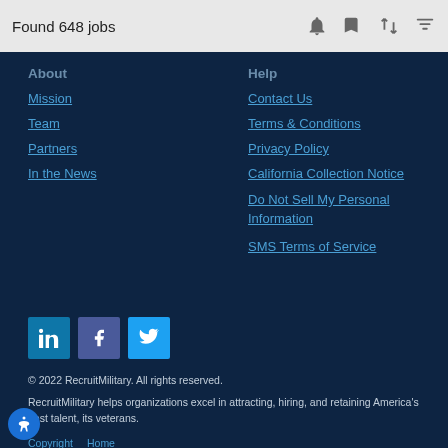Found 648 jobs
About
Mission
Team
Partners
In the News
Help
Contact Us
Terms & Conditions
Privacy Policy
California Collection Notice
Do Not Sell My Personal Information
SMS Terms of Service
[Figure (illustration): Social media buttons: LinkedIn, Facebook, Twitter]
© 2022 RecruitMilitary. All rights reserved.
RecruitMilitary helps organizations excel in attracting, hiring, and retaining America's best talent, its veterans.
Copyright
Home